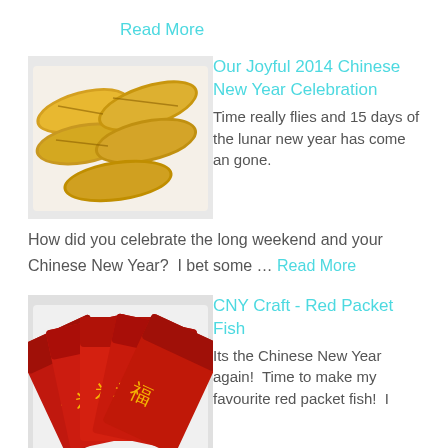Read More
[Figure (photo): Photo of yellow banana-shaped pastries in a white tray]
Our Joyful 2014 Chinese New Year Celebration
Time really flies and 15 days of the lunar new year has come an gone. How did you celebrate the long weekend and your Chinese New Year? I bet some … Read More
[Figure (photo): Photo of red envelopes (ang pao) fanned out]
CNY Craft - Red Packet Fish
Its the Chinese New Year again! Time to make my favourite red packet fish! I googled for this couple of years ago but forgotten what is the site's … Read More